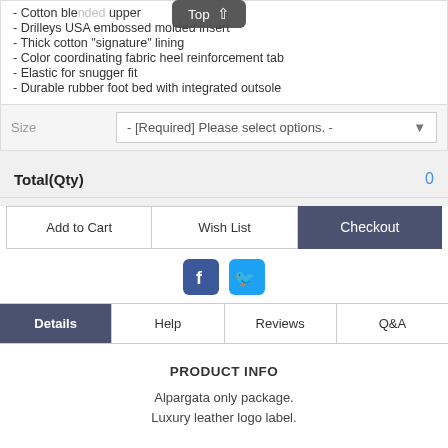- Cotton ble[nded] upper
- Drilleys USA embossed molded insert
- Thick cotton "signature" lining
- Color coordinating fabric heel reinforcement tab
- Elastic for snugger fit
- Durable rubber foot bed with integrated outsole
Size   - [Required] Please select options. -
Total(Qty)   0
Add to Cart   Wish List   Checkout
[Figure (screenshot): Facebook and Twitter social share icons]
Details   Help   Reviews   Q&A
PRODUCT INFO
Alpargata only package.
Luxury leather logo label.